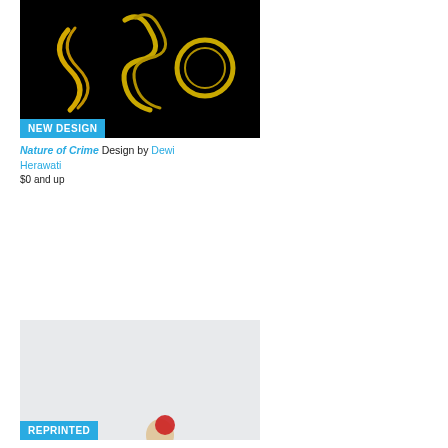[Figure (illustration): Nature of Crime product image — golden squiggly letter-like shapes on black background with 'NEW DESIGN' badge]
Nature of Crime Design by Dewi Herawati
$0 and up
[Figure (illustration): Illustration of a crowd of many people in blue and grey tones with red accents, with 'REPRINTED' badge at bottom left]